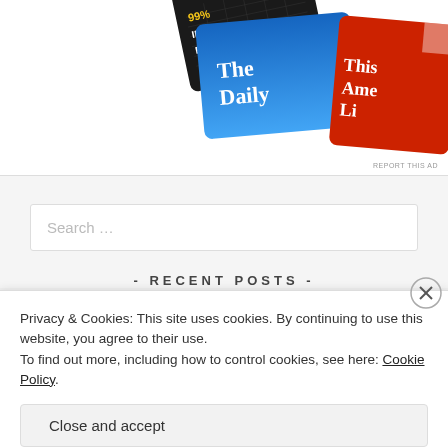[Figure (screenshot): Partial view of podcast app icons including '99% Invisible' (black background, yellow text), 'The Daily' (blue gradient), and 'This American Life' (red background, white text). Shows a cropped advertisement with 'REPORT THIS AD' label.]
Search …
- RECENT POSTS -
Privacy & Cookies: This site uses cookies. By continuing to use this website, you agree to their use.
To find out more, including how to control cookies, see here: Cookie Policy
Close and accept